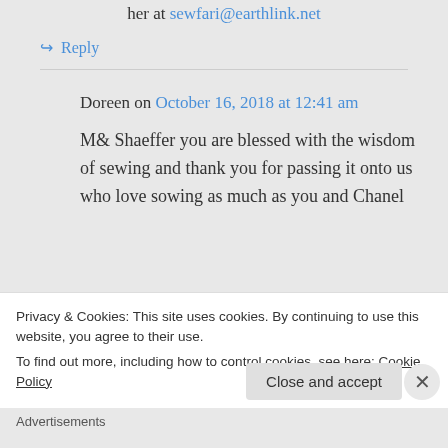her at sewfari@earthlink.net
↪ Reply
Doreen on October 16, 2018 at 12:41 am
M& Shaeffer you are blessed with the wisdom of sewing and thank you for passing it onto us who love sowing as much as you and Chanel
Privacy & Cookies: This site uses cookies. By continuing to use this website, you agree to their use.
To find out more, including how to control cookies, see here: Cookie Policy
Close and accept
Advertisements